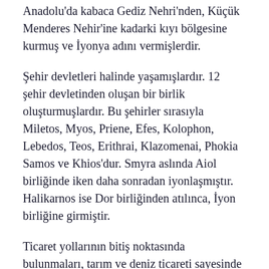Anadolu'da kabaca Gediz Nehri'nden, Küçük Menderes Nehir'ine kadarki kıyı bölgesine kurmuş ve İyonya adını vermişlerdir.
Şehir devletleri halinde yaşamışlardır. 12 şehir devletinden oluşan bir birlik oluşturmuşlardır. Bu şehirler sırasıyla Miletos, Myos, Priene, Efes, Kolophon, Lebedos, Teos, Erithrai, Klazomenai, Phokia Samos ve Khios'dur. Smyra aslında Aiol birliğinde iken daha sonradan iyonlaşmıştır. Halikarnos ise Dor birliğinden atılınca, İyon birliğine girmiştir.
Ticaret yollarının bitiş noktasında bulunmaları, tarım ve deniz ticareti sayesinde zenginleşmeleri sonucunda kültürel ve bilim yönüyle Anadolu medeniyetlerinin en gelişmisini